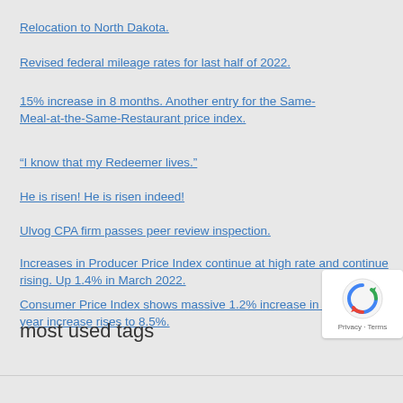Relocation to North Dakota.
Revised federal mileage rates for last half of 2022.
15% increase in 8 months. Another entry for the Same-Meal-at-the-Same-Restaurant price index.
“I know that my Redeemer lives.”
He is risen! He is risen indeed!
Ulvog CPA firm passes peer review inspection.
Increases in Producer Price Index continue at high rate and continue rising. Up 1.4% in March 2022.
Consumer Price Index shows massive 1.2% increase in March. One year increase rises to 8.5%.
most used tags